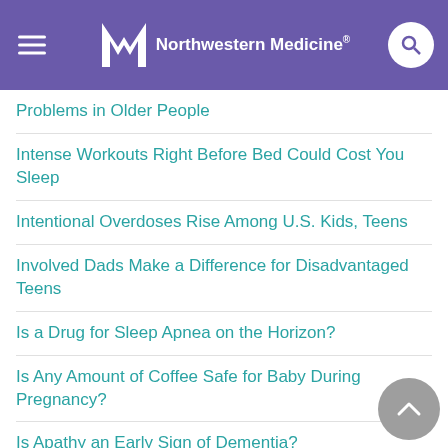Northwestern Medicine
Problems in Older People
Intense Workouts Right Before Bed Could Cost You Sleep
Intentional Overdoses Rise Among U.S. Kids, Teens
Involved Dads Make a Difference for Disadvantaged Teens
Is a Drug for Sleep Apnea on the Horizon?
Is Any Amount of Coffee Safe for Baby During Pregnancy?
Is Apathy an Early Sign of Dementia?
Is Empathy Born in Mom's First Hugs?
Is It Parkinson's? These 10 Signs Could Tell